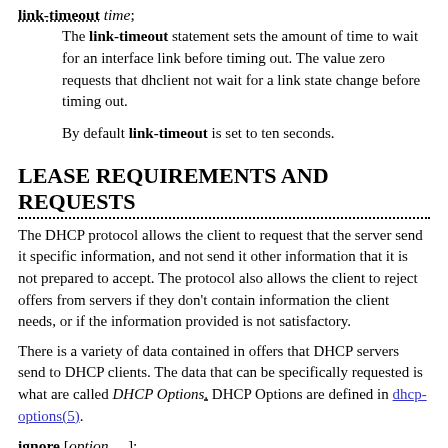link-timeout time;
    The link-timeout statement sets the amount of time to wait for an interface link before timing out. The value zero requests that dhclient not wait for a link state change before timing out.

    By default link-timeout is set to ten seconds.
LEASE REQUIREMENTS AND REQUESTS
The DHCP protocol allows the client to request that the server send it specific information, and not send it other information that it is not prepared to accept. The protocol also allows the client to reject offers from servers if they don't contain information the client needs, or if the information provided is not satisfactory.
There is a variety of data contained in offers that DHCP servers send to DHCP clients. The data that can be specifically requested is what are called DHCP Options. DHCP Options are defined in dhcp-options(5).
ignore [option, ...];
    The ignore statement causes the client to discard values provided by the server for the specified options